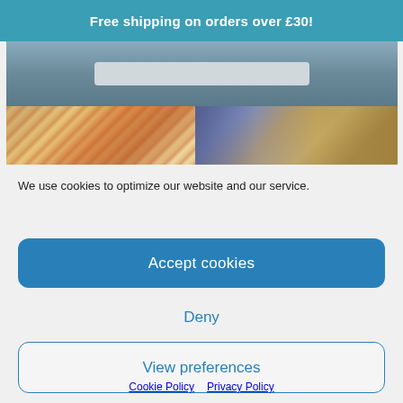Free shipping on orders over £30!
[Figure (screenshot): Partial website screenshot showing a search bar area against a dark background]
[Figure (photo): Two side-by-side photos: left shows a person in an orange striped outfit outdoors, right shows a wooden furniture piece or interior scene]
We use cookies to optimize our website and our service.
Accept cookies
Deny
View preferences
Cookie Policy   Privacy Policy